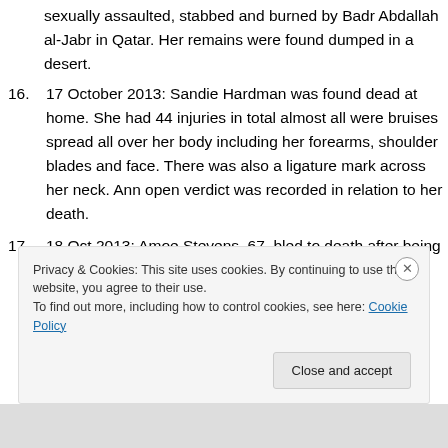sexually assaulted, stabbed and burned by Badr Abdallah al-Jabr in Qatar. Her remains were found dumped in a desert.
16. 17 October 2013: Sandie Hardman was found dead at home. She had 44 injuries in total almost all were bruises spread all over her body including her forearms, shoulder blades and face. There was also a ligature mark across her neck. Ann open verdict was recorded in relation to her death.
17. 18 Oct 2013: Amoe Stevens, 67, bled to death after being attacked in her home. 31-yr-old Mohamnud
Privacy & Cookies: This site uses cookies. By continuing to use this website, you agree to their use.
To find out more, including how to control cookies, see here: Cookie Policy